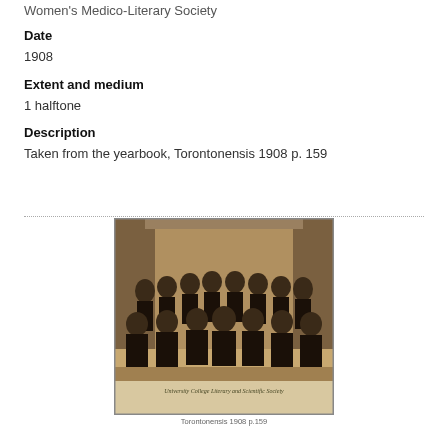Women's Medico-Literary Society
Date
1908
Extent and medium
1 halftone
Description
Taken from the yearbook, Torontonensis 1908 p. 159
[Figure (photo): Group photograph of men in academic robes seated and standing, labeled 'University College Literary and Scientific Society', taken from Torontonensis 1908 p. 159]
Torontonensis 1908 p.159